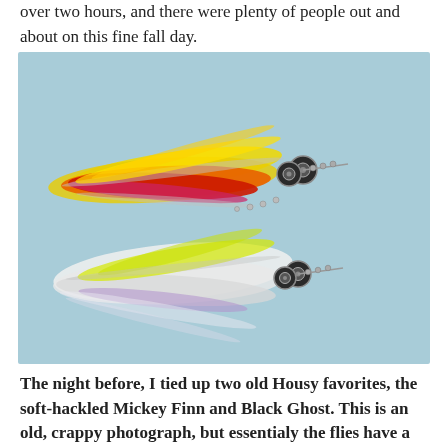over two hours, and there were plenty of people out and about on this fine fall day.
[Figure (photo): Two fishing flies (streamers) on a light blue background. The top fly is a soft-hackled Mickey Finn with vibrant yellow, orange and red feathers with metallic bead chain eyes. The bottom fly is a Black Ghost with white and pale yellow feathers with metallic bead chain eyes.]
The night before, I tied up two old Housy favorites, the soft-hackled Mickey Finn and Black Ghost. This is an old, crappy photograph, but essentialy the flies have a